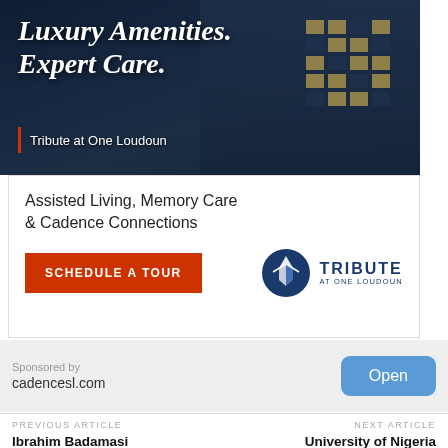[Figure (photo): Night-time photo of a luxury senior living apartment building with text overlay: 'Luxury Amenities. Expert Care.' and 'Tribute at One Loudoun' with a red vertical bar accent]
Assisted Living, Memory Care & Cadence Connections
[Figure (logo): Red 'SCHEDULE A TOUR' button and Tribute at One Loudoun circular logo with navy blue text]
Sponsored by
cadencesl.com
Open
PREVIOUS ARTICLE
Ibrahim Badamasi Babangida University
NEXT ARTICLE
University of Nigeria Nsukka (UNN) Post UTME